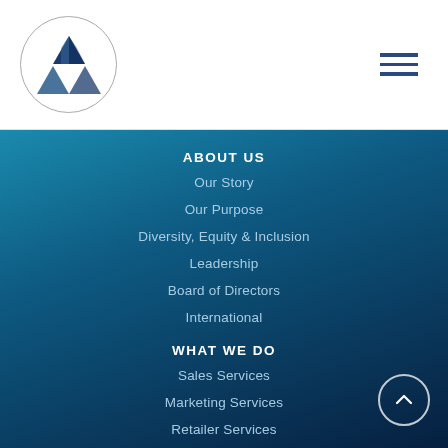[Figure (logo): Company logo: triangular geometric shapes arranged in a triangle pattern inside a circle]
ABOUT US
Our Story
Our Purpose
Diversity, Equity & Inclusion
Leadership
Board of Directors
International
WHAT WE DO
Sales Services
Marketing Services
Retailer Services
NEWSROOM